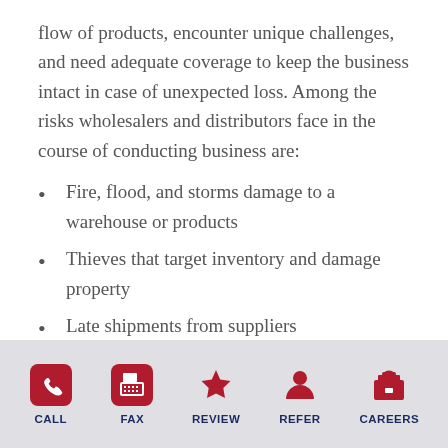flow of products, encounter unique challenges, and need adequate coverage to keep the business intact in case of unexpected loss. Among the risks wholesalers and distributors face in the course of conducting business are:
Fire, flood, and storms damage to a warehouse or products
Thieves that target inventory and damage property
Late shipments from suppliers
CALL | FAX | REVIEW | REFER | CAREERS